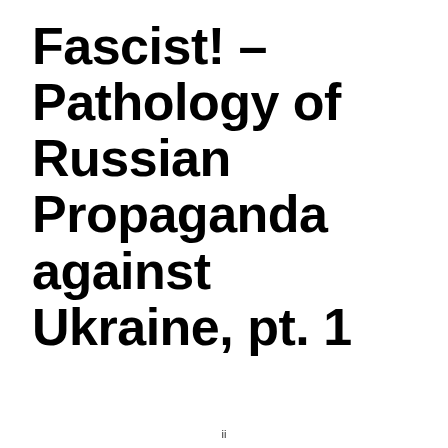Fascist! – Pathology of Russian Propaganda against Ukraine, pt. 1
ii